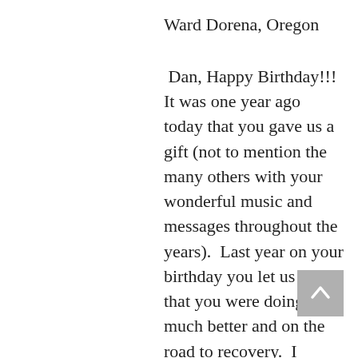Ward Dorena, Oregon
Dan, Happy Birthday!!!  It was one year ago today that you gave us a gift (not to mention the many others with your wonderful music and messages throughout the years).  Last year on your birthday you let us know that you were doing much better and on the road to recovery.  I remember sitting here crying while reading it because it had been more